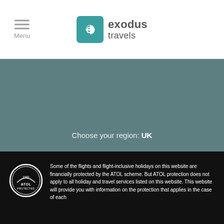Menu | exodus travels
Choose your region: UK
Some of the flights and flight-inclusive holidays on this website are financially protected by the ATOL scheme. But ATOL protection does not apply to all holiday and travel services listed on this website. This website will provide you with information on the protection that applies in the case of each